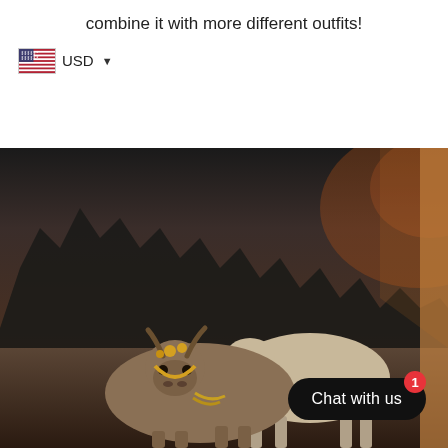combine it with more different outfits!
[Figure (other): Currency selector showing US flag icon and USD dropdown]
[Figure (photo): Outdoor photo of two cattle/cows in warm sunset light with dark forest background, and a chat widget overlay showing 'Chat with us' button with notification badge '1']